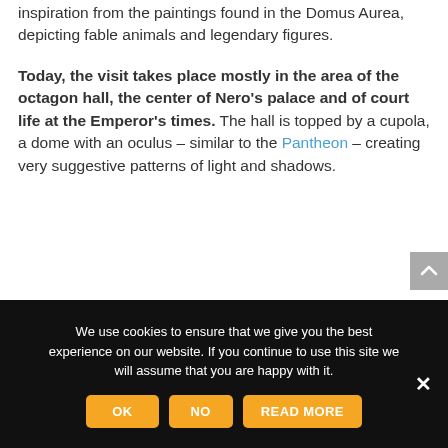inspiration from the paintings found in the Domus Aurea, depicting fable animals and legendary figures.
Today, the visit takes place mostly in the area of the octagon hall, the center of Nero's palace and of court life at the Emperor's times. The hall is topped by a cupola, a dome with an oculus – similar to the Pantheon – creating very suggestive patterns of light and shadows.
We use cookies to ensure that we give you the best experience on our website. If you continue to use this site we will assume that you are happy with it.